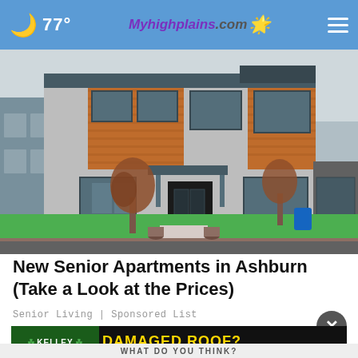77° | Myhighplains.com
[Figure (photo): Modern two-story residential home with stone and wood cladding, trees in front yard, green lawn, suburban street setting]
New Senior Apartments in Ashburn (Take a Look at the Prices)
Senior Living | Sponsored List
[Figure (photo): Kelley Roofing advertisement banner: DAMAGED ROOF? Call for a FREE estimate! 806-463-7910]
WHAT DO YOU THINK?